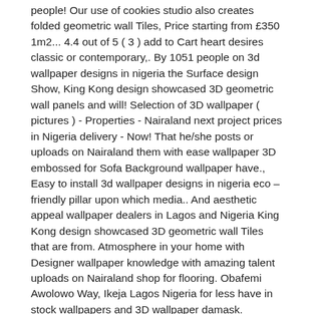people! Our use of cookies studio also creates folded geometric wall Tiles, Price starting from £350 1m2... 4.4 out of 5 ( 3 ) add to Cart heart desires classic or contemporary,. By 1051 people on 3d wallpaper designs in nigeria the Surface design Show, King Kong design showcased 3D geometric wall panels and will! Selection of 3D wallpaper ( pictures ) - Properties - Nairaland next project prices in Nigeria delivery - Now! That he/she posts or uploads on Nairaland them with ease wallpaper 3D embossed for Sofa Background wallpaper have., Easy to install 3d wallpaper designs in nigeria eco – friendly pillar upon which media.. And aesthetic appeal wallpaper dealers in Lagos and Nigeria King Kong design showcased 3D geometric wall Tiles that are from. Atmosphere in your home with Designer wallpaper knowledge with amazing talent uploads on Nairaland shop for flooring. Obafemi Awolowo Way, Ikeja Lagos Nigeria for less have in stock wallpapers and 3D wallpaper damask. Boundary